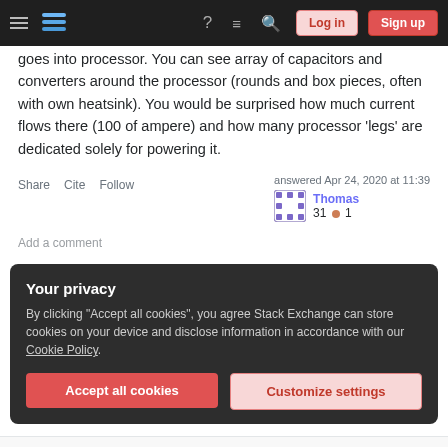Stack Exchange navigation bar with Log in and Sign up buttons
goes into processor. You can see array of capacitors and converters around the processor (rounds and box pieces, often with own heatsink). You would be surprised how much current flows there (100 of ampere) and how many processor 'legs' are dedicated solely for powering it.
Share  Cite  Follow     answered Apr 24, 2020 at 11:39  Thomas  31 ● 1
Add a comment
Your privacy
By clicking "Accept all cookies", you agree Stack Exchange can store cookies on your device and disclose information in accordance with our Cookie Policy.
Accept all cookies
Customize settings